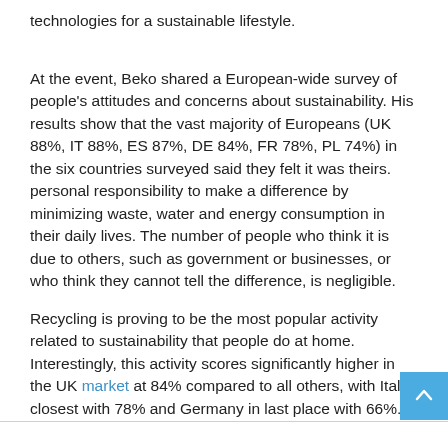technologies for a sustainable lifestyle.
At the event, Beko shared a European-wide survey of people's attitudes and concerns about sustainability. His results show that the vast majority of Europeans (UK 88%, IT 88%, ES 87%, DE 84%, FR 78%, PL 74%) in the six countries surveyed said they felt it was theirs. personal responsibility to make a difference by minimizing waste, water and energy consumption in their daily lives. The number of people who think it is due to others, such as government or businesses, or who think they cannot tell the difference, is negligible.
Recycling is proving to be the most popular activity related to sustainability that people do at home. Interestingly, this activity scores significantly higher in the UK market at 84% compared to all others, with Italy closest with 78% and Germany in last place with 66%.